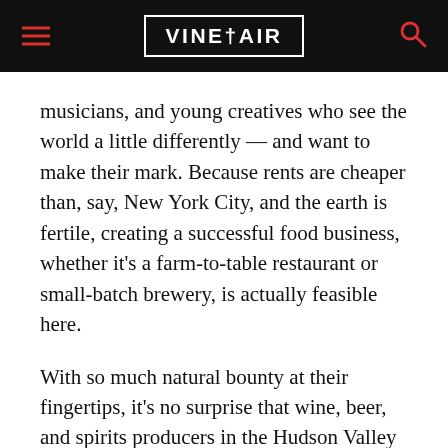VINEPAIR
musicians, and young creatives who see the world a little differently — and want to make their mark. Because rents are cheaper than, say, New York City, and the earth is fertile, creating a successful food business, whether it's a farm-to-table restaurant or small-batch brewery, is actually feasible here.
With so much natural bounty at their fingertips, it's no surprise that wine, beer, and spirits producers in the Hudson Valley lean toward biodynamic and low-intervention processes. They like things that